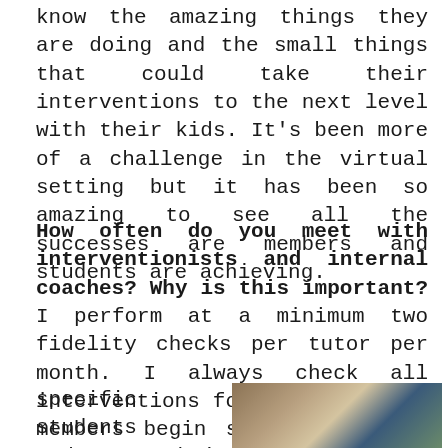know the amazing things they are doing and the small things that could take their interventions to the next level with their kids. It's been more of a challenge in the virtual setting but it has been so amazing to see all the successes are members and students are achieving.
How often do you meet with interventionists and internal coaches? Why is this important? I perform at a minimum two fidelity checks per tutor per month. I always check all interventions for fidelity when members begin service. I will also complete more fidelity checks if there are concerns about
specific students and their growth to
[Figure (photo): A photo showing boxes and what appears to be a classroom or storage area with green and tan colors visible]